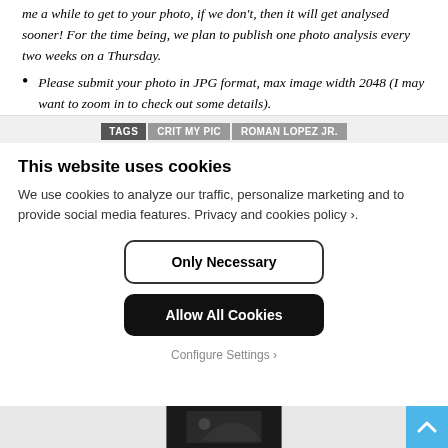me a while to get to your photo, if we don't, then it will get analysed sooner! For the time being, we plan to publish one photo analysis every two weeks on a Thursday.
Please submit your photo in JPG format, max image width 2048 (I may want to zoom in to check out some details).
TAGS  CRIT MY PIC  ROMAN LOPEZ JR.
This website uses cookies
We use cookies to analyze our traffic, personalize marketing and to provide social media features. Privacy and cookies policy ›.
Only Necessary
Allow All Cookies
Configure Settings ›
[Figure (photo): Dark photo thumbnail at bottom of page]